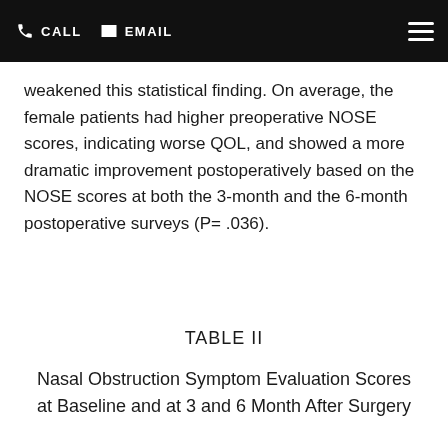CALL  EMAIL
weakened this statistical finding. On average, the female patients had higher preoperative NOSE scores, indicating worse QOL, and showed a more dramatic improvement postoperatively based on the NOSE scores at both the 3-month and the 6-month postoperative surveys (P= .036).
TABLE II
Nasal Obstruction Symptom Evaluation Scores at Baseline and at 3 and 6 Month After Surgery